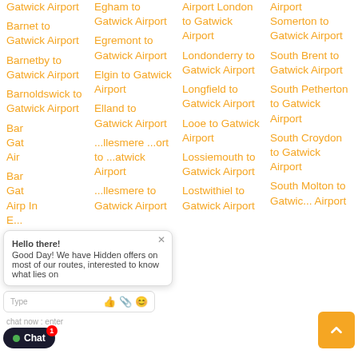Gatwick Airport
Barnet to Gatwick Airport
Barnetby to Gatwick Airport
Barnoldswick to Gatwick Airport
Bar... Gatwick Airport
Bar... Gatwick Airport
Egham to Gatwick Airport
Egremont to Gatwick Airport
Elgin to Gatwick Airport
Elland to Gatwick Airport
Ellesmere Port to Gatwick Airport
Ellesmere to Gatwick Airport
Airport London to Gatwick Airport
Londonderry to Gatwick Airport
Longfield to Gatwick Airport
Looe to Gatwick Airport
Lossiemouth to Gatwick Airport
Lostwithiel to Gatwick Airport
Airport Somerton to Gatwick Airport
South Brent to Gatwick Airport
South Petherton to Gatwick Airport
South Croydon to Gatwick Airport
South Molton to Gatwick Airport